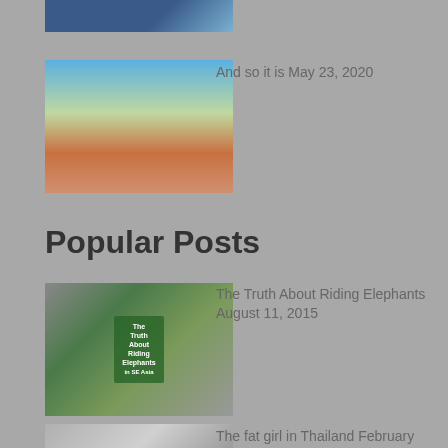[Figure (photo): Partial photo at top of page, clipped]
[Figure (photo): Zion National Park red rock canyon with dirt road and blue sky]
And so it is May 23, 2020
Popular Posts
[Figure (photo): Elephants photo with book cover overlay: 'The Truth About Riding Elephants in SE Asia']
The Truth About Riding Elephants August 11, 2015
[Figure (photo): The fat girl in Thailand - person standing in doorway]
The fat girl in Thailand February